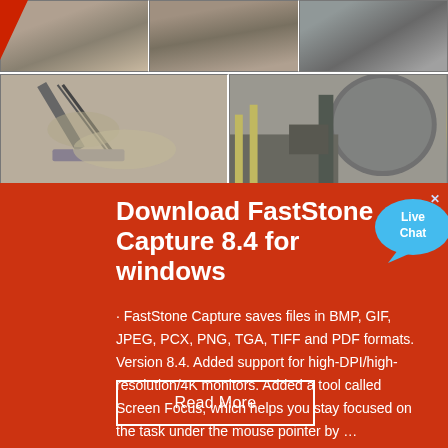[Figure (photo): Grid of industrial/mining site photos showing conveyor belts, aggregate stockpiles, crushing equipment, and large cylindrical mills]
Download FastStone Capture 8.4 for windows
· FastStone Capture saves files in BMP, GIF, JPEG, PCX, PNG, TGA, TIFF and PDF formats. Version 8.4. Added support for high-DPI/high-resolution/4K monitors. Added a tool called Screen Focus, which helps you stay focused on the task under the mouse pointer by …
Read More